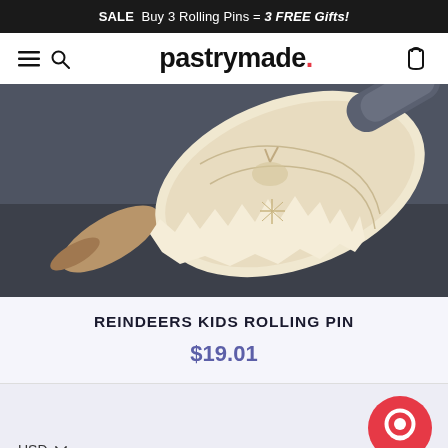SALE Buy 3 Rolling Pins = 3 FREE Gifts!
pastrymade.
[Figure (photo): A decorative rolling pin with reindeer and snowflake patterns resting on a dark blue-gray surface next to embossed dough]
REINDEERS KIDS ROLLING PIN
$19.01
USD